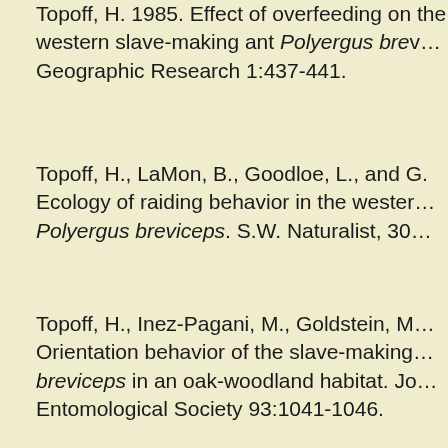Topoff, H. 1985. Effect of overfeeding on the western slave-making ant Polyergus breviceps. Geographic Research 1:437-441.
Topoff, H., LaMon, B., Goodloe, L., and G. Ecology of raiding behavior in the western Polyergus breviceps. S.W. Naturalist, 30
Topoff, H., Inez-Pagani, M., Goldstein, M. Orientation behavior of the slave-making breviceps in an oak-woodland habitat. Journal of the New York Entomological Society 93:1041-1046.
LaMon, B. and Topoff, H. 1985. Social factors and the fire ant Solenopsis invicta. Developmental Psychobiology 18:367-374.
Goldstein, M. and Topoff, H. 1985. React...